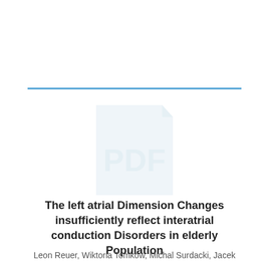[Figure (other): A faint blue watermark PDF document icon in the center of the page]
The left atrial Dimension Changes insufficiently reflect interatrial conduction Disorders in elderly Population
Leon Reuer, Wiktoria Tomków, Michal Surdacki, Jacek